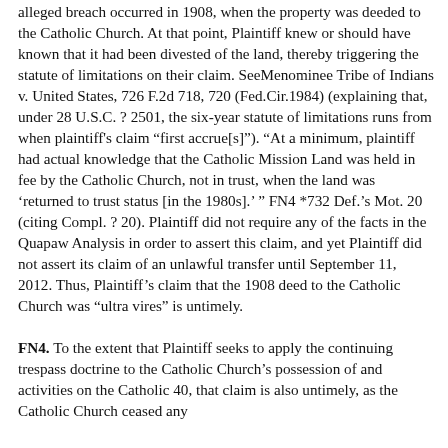alleged breach occurred in 1908, when the property was deeded to the Catholic Church. At that point, Plaintiff knew or should have known that it had been divested of the land, thereby triggering the statute of limitations on their claim. SeeMenominee Tribe of Indians v. United States, 726 F.2d 718, 720 (Fed.Cir.1984) (explaining that, under 28 U.S.C. ? 2501, the six-year statute of limitations runs from when plaintiff's claim “first accrue[s]”). “At a minimum, plaintiff had actual knowledge that the Catholic Mission Land was held in fee by the Catholic Church, not in trust, when the land was ‘returned to trust status [in the 1980s].’ ” FN4 *732 Def.’s Mot. 20 (citing Compl. ? 20). Plaintiff did not require any of the facts in the Quapaw Analysis in order to assert this claim, and yet Plaintiff did not assert its claim of an unlawful transfer until September 11, 2012. Thus, Plaintiff’s claim that the 1908 deed to the Catholic Church was “ultra vires” is untimely.
FN4. To the extent that Plaintiff seeks to apply the continuing trespass doctrine to the Catholic Church’s possession of and activities on the Catholic 40, that claim is also untimely, as the Catholic Church ceased any